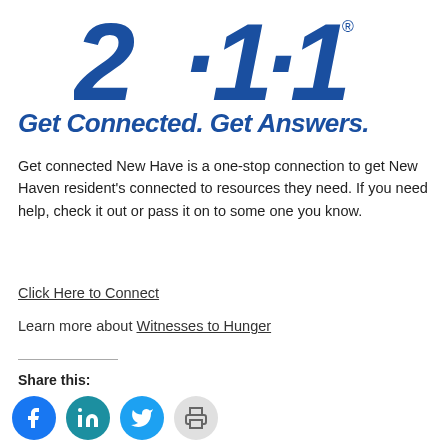[Figure (logo): 211 logo in bold blue with registered trademark symbol]
Get Connected. Get Answers.
Get connected New Have is a one-stop connection to get New Haven resident's connected to resources they need. If you need help, check it out or pass it on to some one you know.
Click Here to Connect
Learn more about Witnesses to Hunger
Share this:
[Figure (illustration): Social sharing icons: Facebook (blue circle), LinkedIn (teal circle), Twitter (blue circle), Print (gray circle)]